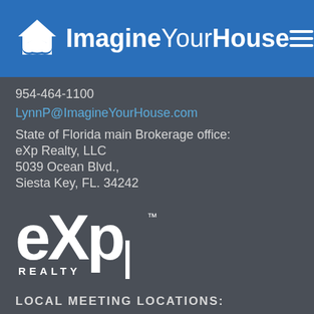[Figure (logo): ImagineYourHouse logo with house/cloud icon and text on blue header bar]
954-464-1100
LynnP@ImagineYourHouse.com
State of Florida main Brokerage office:
eXp Realty, LLC
5039 Ocean Blvd.,
Siesta Key, FL. 34242
[Figure (logo): eXp Realty logo in white on dark background]
LOCAL MEETING LOCATIONS:
11555 Heron Bay Blvd